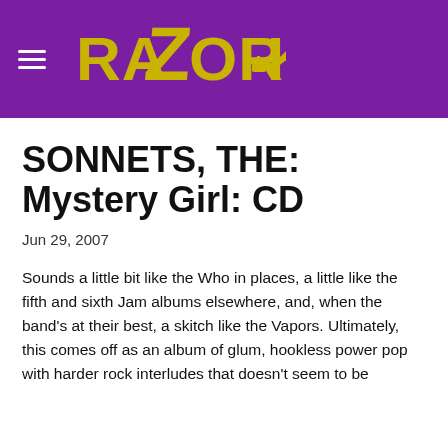RAZORCAKE
SONNETS, THE: Mystery Girl: CD
Jun 29, 2007
Sounds a little bit like the Who in places, a little like the fifth and sixth Jam albums elsewhere, and, when the band's at their best, a skitch like the Vapors. Ultimately, this comes off as an album of glum, hookless power pop with harder rock interludes that doesn't seem to be